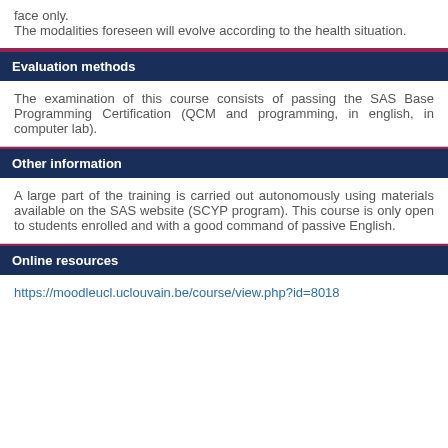face only.
The modalities foreseen will evolve according to the health situation.
Evaluation methods
The examination of this course consists of passing the SAS Base Programming Certification (QCM and programming, in english, in computer lab).
Other information
A large part of the training is carried out autonomously using materials available on the SAS website (SCYP program). This course is only open to students enrolled and with a good command of passive English.
Online resources
https://moodleucl.uclouvain.be/course/view.php?id=8018